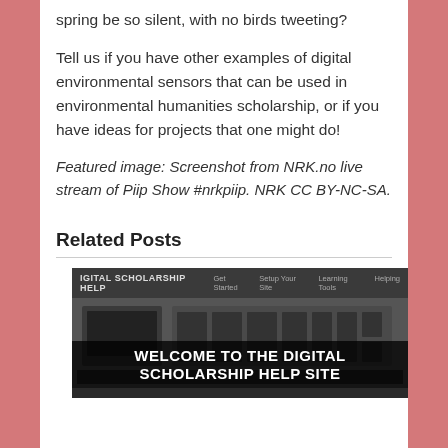spring be so silent, with no birds tweeting?
Tell us if you have other examples of digital environmental sensors that can be used in environmental humanities scholarship, or if you have ideas for projects that one might do!
Featured image: Screenshot from NRK.no live stream of Piip Show #nrkpiip. NRK CC BY-NC-SA.
Related Posts
[Figure (screenshot): Screenshot of Digital Scholarship Help website with equipment image and overlay text reading WELCOME TO THE DIGITAL SCHOLARSHIP HELP SITE]